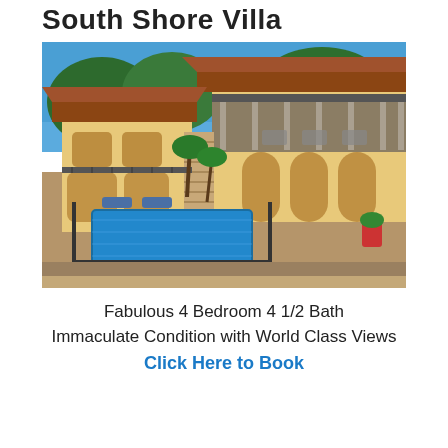South Shore Villa
[Figure (photo): Aerial/elevated view of a luxury Mediterranean-style villa with yellow stucco walls, terracotta tile roofs, stone accents, wraparound covered terrace on upper level, arched doors/windows, tropical landscaping with palm trees, and a rectangular swimming pool surrounded by lounge chairs and iron railings on a sunny day.]
Fabulous 4 Bedroom 4 1/2 Bath
Immaculate Condition with World Class Views
Click Here to Book